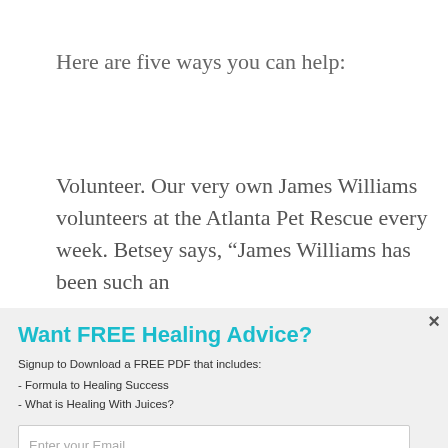Here are five ways you can help:
Volunteer. Our very own James Williams volunteers at the Atlanta Pet Rescue every week. Betsey says, “James Williams has been such an
×
Want FREE Healing Advice?
Signup to Download a FREE PDF that includes:
- Formula to Healing Success
- What is Healing With Juices?
Enter your Email
Send me the free downloads